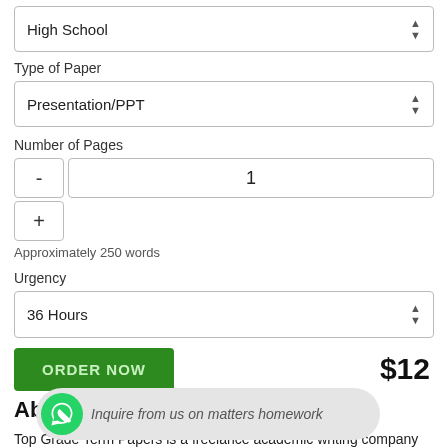High School
Type of Paper
Presentation/PPT
Number of Pages
1
Approximately 250 words
Urgency
36 Hours
$12
ORDER NOW
About US
Top Grade Term Papers is a freelance academic writing company geared towards provision of high quali... at the topgradetermpapers ap... and we are here to make it easier for you. Our goal as an online term paper
Inquire from us on matters homework